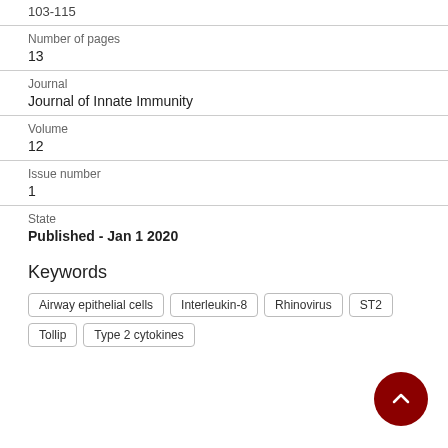103-115
Number of pages
13
Journal
Journal of Innate Immunity
Volume
12
Issue number
1
State
Published - Jan 1 2020
Keywords
Airway epithelial cells
Interleukin-8
Rhinovirus
ST2
Tollip
Type 2 cytokines